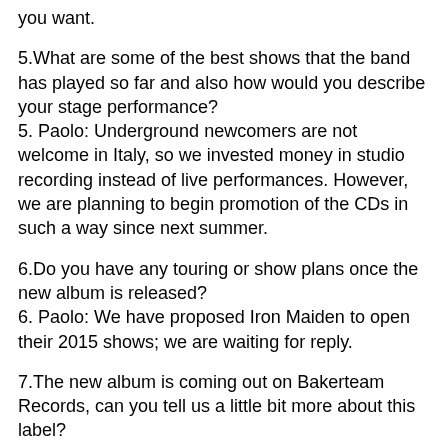you want.
5.What are some of the best shows that the band has played so far and also how would you describe your stage performance?
5. Paolo: Underground newcomers are not welcome in Italy, so we invested money in studio recording instead of live performances. However, we are planning to begin promotion of the CDs in such a way since next summer.
6.Do you have any touring or show plans once the new album is released?
6. Paolo: We have proposed Iron Maiden to open their 2015 shows; we are waiting for reply.
7.The new album is coming out on Bakerteam Records, can you tell us a little bit more about this label?
7. Cesare: Bakerteam needs no introduction. We like the guys and the way they operate. the day we signed the contract, we had a glimpse on cover artworks they were working on, and we suddenly fell in love with this artwork, that later that same month we bought from 3mmi Design. So